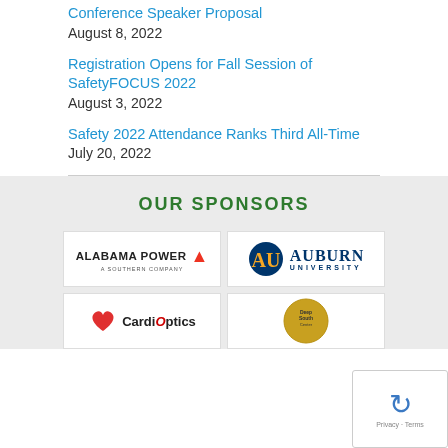Conference Speaker Proposal
August 8, 2022
Registration Opens for Fall Session of SafetyFOCUS 2022
August 3, 2022
Safety 2022 Attendance Ranks Third All-Time
July 20, 2022
OUR SPONSORS
[Figure (logo): Alabama Power - A Southern Company logo]
[Figure (logo): Auburn University logo with AU emblem]
[Figure (logo): CardiOptics logo (partial)]
[Figure (logo): Deep South Center logo (partial)]